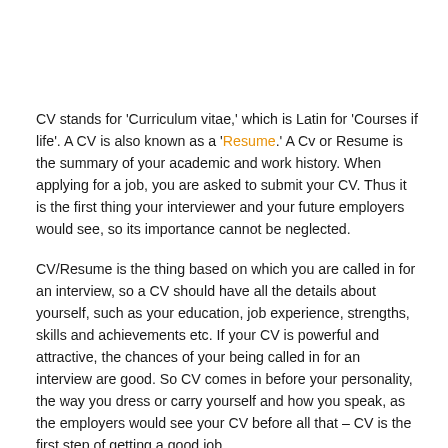CV stands for 'Curriculum vitae,' which is Latin for 'Courses if life'. A CV is also known as a 'Resume.' A Cv or Resume is the summary of your academic and work history. When applying for a job, you are asked to submit your CV. Thus it is the first thing your interviewer and your future employers would see, so its importance cannot be neglected.
CV/Resume is the thing based on which you are called in for an interview, so a CV should have all the details about yourself, such as your education, job experience, strengths, skills and achievements etc. If your CV is powerful and attractive, the chances of your being called in for an interview are good. So CV comes in before your personality, the way you dress or carry yourself and how you speak, as the employers would see your CV before all that – CV is the first step of getting a good job.